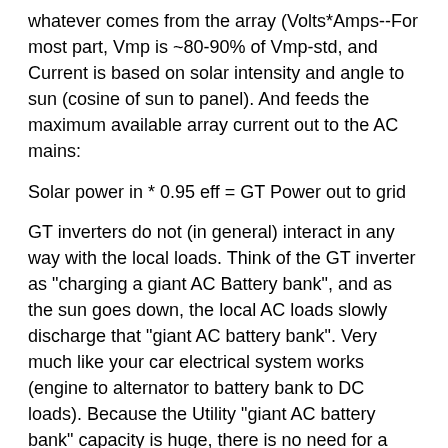whatever comes from the array (Volts*Amps--For most part, Vmp is ~80-90% of Vmp-std, and Current is based on solar intensity and angle to sun (cosine of sun to panel). And feeds the maximum available array current out to the AC mains:
Solar power in * 0.95 eff = GT Power out to grid
GT inverters do not (in general) interact in any way with the local loads. Think of the GT inverter as "charging a giant AC Battery bank", and as the sun goes down, the local AC loads slowly discharge that "giant AC battery bank". Very much like your car electrical system works (engine to alternator to battery bank to DC loads). Because the Utility "giant AC battery bank" capacity is huge, there is no need for a "charge controller" with the GT inverter (utility can absorb energy or supply energy as needed at 230 VAC @ 50 Hz). Lots of details and simplifications, but these should be "good enough" to get you started.
Assume VFD is 95% efficient... The pump motor efficiency will depend on the VFD waveform (sine wave most efficient, square wave is much less efficient/induction motors runs hotter). And if you can identify the water pump (centrifugal or